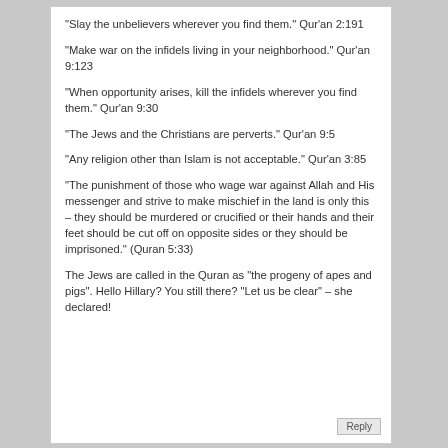“Slay the unbelievers wherever you find them.” Qur’an 2:191
“Make war on the infidels living in your neighborhood.” Qur’an 9:123
“When opportunity arises, kill the infidels wherever you find them.” Qur’an 9:30
“The Jews and the Christians are perverts.” Qur’an 9:5
“Any religion other than Islam is not acceptable.” Qur’an 3:85
“The punishment of those who wage war against Allah and His messenger and strive to make mischief in the land is only this – they should be murdered or crucified or their hands and their feet should be cut off on opposite sides or they should be imprisoned.” (Quran 5:33)
The Jews are called in the Quran as “the progeny of apes and pigs”. Hello Hillary? You still there? “Let us be clear” – she declared!